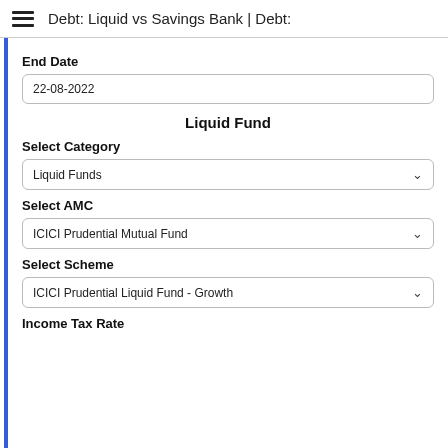Debt: Liquid vs Savings Bank | Debt:
End Date
22-08-2022
Liquid Fund
Select Category
Liquid Funds
Select AMC
ICICI Prudential Mutual Fund
Select Scheme
ICICI Prudential Liquid Fund - Growth
Income Tax Rate